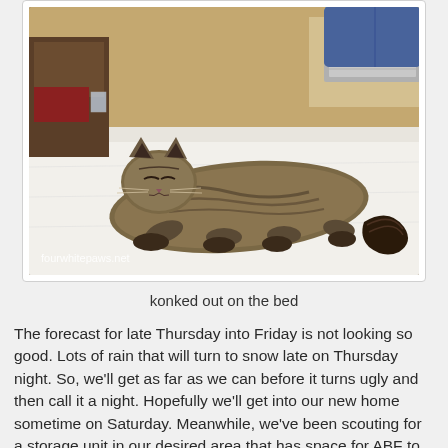[Figure (photo): A large fluffy tabby cat lying stretched out on a white bed/mattress. A person's legs in jeans are visible at the top right. The room has wooden furniture visible in the background. Watermark text 'fourwhitepaws.net' in lower left corner.]
konked out on the bed
The forecast for late Thursday into Friday is not looking so good. Lots of rain that will turn to snow late on Thursday night. So, we'll get as far as we can before it turns ugly and then call it a night. Hopefully we'll get into our new home sometime on Saturday. Meanwhile, we've been scouting for a storage unit in our desired area that has space for ABF to park their 28' trailer for us to unload. So far, we've not had much luck, which is causing some stress. I found one place that has a big enough parking lot, but no available storage